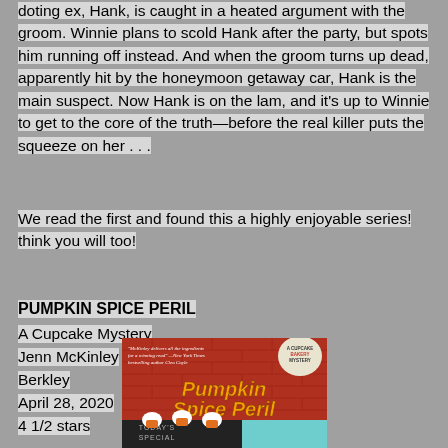doting ex, Hank, is caught in a heated argument with the groom. Winnie plans to scold Hank after the party, but spots him running off instead. And when the groom turns up dead, apparently hit by the honeymoon getaway car, Hank is the main suspect. Now Hank is on the lam, and it's up to Winnie to get to the core of the truth—before the real killer puts the squeeze on her . . .
We read the first and found this a highly enjoyable series!  think you will too!
PUMPKIN SPICE PERIL
A Cupcake Mystery
Jenn McKinley
Berkley
April 28, 2020
4 1/2 stars
[Figure (illustration): Book cover for Pumpkin Spice Peril - A Cupcake Bakery Mystery by Jenn McKinley, showing the title in orange text on a brick wall background with cupcakes and a chalkboard at the bottom]